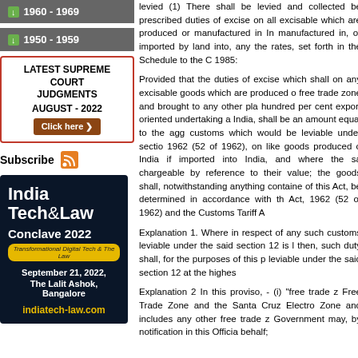1960 - 1969
1950 - 1959
[Figure (infographic): Latest Supreme Court Judgments August - 2022 Click here box with brown/red border]
Subscribe
[Figure (infographic): India Tech&Law Conclave 2022 advertisement. Transformational Digital Tech & The Law. September 21, 2022, The Lalit Ashok, Bangalore. indiatech-law.com]
levied (1) There shall be levied and collected be prescribed duties of excise on all excisable which are produced or manufactured in In manufactured in, or imported by land into, any the rates, set forth in the Schedule to the C 1985:
Provided that the duties of excise which shall on any excisable goods which are produced o free trade zone and brought to any other pla hundred per cent export oriented undertaking a India, shall be an amount equal to the agg customs which would be leviable under sectio 1962 (52 of 1962), on like goods produced o India if imported into India, and where the sa chargeable by reference to their value; the goods shall, notwithstanding anything containe of this Act, be determined in accordance with th Act, 1962 (52 of 1962) and the Customs Tariff A
Explanation 1. Where in respect of any such customs leviable under the said section 12 is l then, such duty shall, for the purposes of this p leviable under the said section 12 at the highes
Explanation 2 In this proviso, - (i) "free trade z Free Trade Zone and the Santa Cruz Electro Zone and includes any other free trade z Government may, by notification in this Officia behalf;